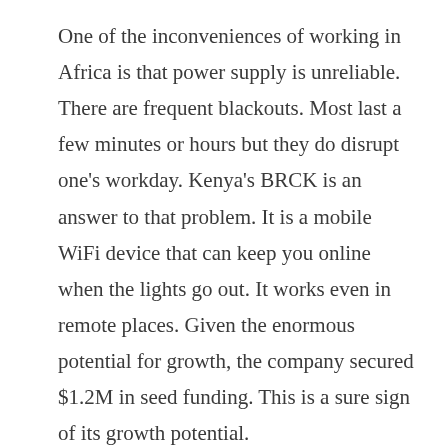One of the inconveniences of working in Africa is that power supply is unreliable. There are frequent blackouts. Most last a few minutes or hours but they do disrupt one's workday. Kenya's BRCK is an answer to that problem. It is a mobile WiFi device that can keep you online when the lights go out. It works even in remote places. Given the enormous potential for growth, the company secured $1.2M in seed funding. This is a sure sign of its growth potential.
Kenya's M-kopa has raised an astonishing $31M from investors. M-kopa serves the many East Africans who are involuntarily living 'off-grid,' with no